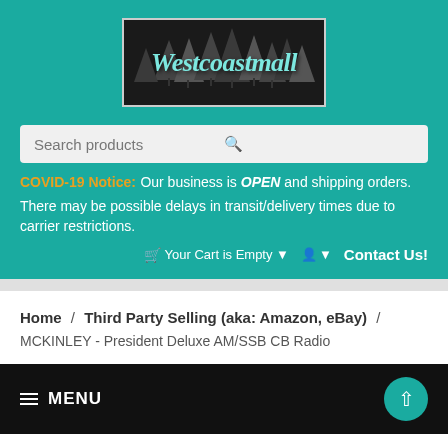[Figure (logo): Westcoastmall logo with forest/pine tree silhouette background and stylized italic text]
Search products
COVID-19 Notice: Our business is OPEN and shipping orders.
There may be possible delays in transit/delivery times due to carrier restrictions.
Contact Us!
Your Cart is Empty
Home / Third Party Selling (aka: Amazon, eBay) / MCKINLEY - President Deluxe AM/SSB CB Radio
MENU